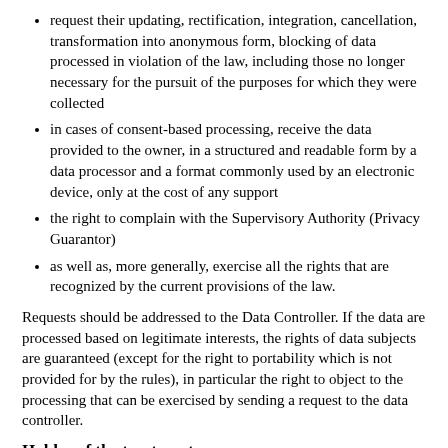request their updating, rectification, integration, cancellation, transformation into anonymous form, blocking of data processed in violation of the law, including those no longer necessary for the pursuit of the purposes for which they were collected
in cases of consent-based processing, receive the data provided to the owner, in a structured and readable form by a data processor and a format commonly used by an electronic device, only at the cost of any support
the right to complain with the Supervisory Authority (Privacy Guarantor)
as well as, more generally, exercise all the rights that are recognized by the current provisions of the law.
Requests should be addressed to the Data Controller. If the data are processed based on legitimate interests, the rights of data subjects are guaranteed (except for the right to portability which is not provided for by the rules), in particular the right to object to the processing that can be exercised by sending a request to the data controller.
Holder of the treatment
The data controller is identified as the Data Controller, together with the web hosting appointed co-responsible for the processing